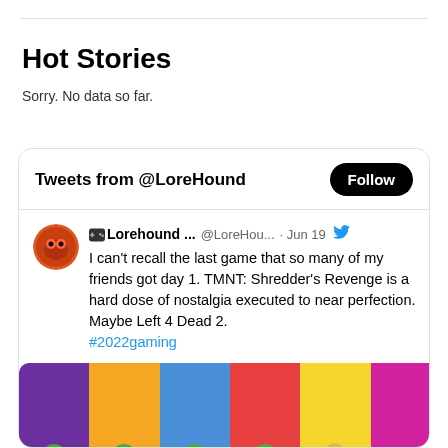Hot Stories
Sorry. No data so far.
Tweets from @LoreHound
🎮Lorehound ... @LoreHou... · Jun 19 — I can't recall the last game that so many of my friends got day 1. TMNT: Shredder's Revenge is a hard dose of nostalgia executed to near perfection. Maybe Left 4 Dead 2. #2022gaming
[Figure (illustration): TMNT Shredder's Revenge colored vertical stripe promotional image with cartoon turtle characters at the bottom]